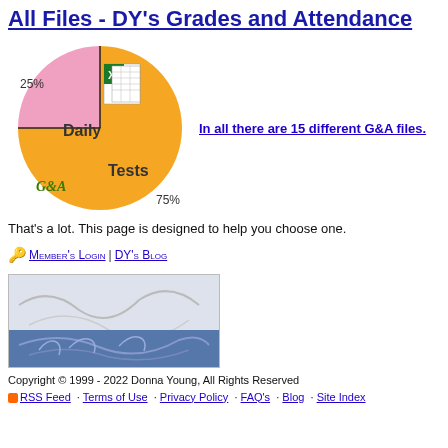All Files - DY's Grades and Attendance
[Figure (pie-chart): G&A Files Distribution]
In all there are 15 different G&A files. That's a lot. This page is designed to help you choose one.
🔑 Member's Login | DY's Blog
[Figure (illustration): Signature/logo illustration with wave design and blue banner area]
Copyright © 1999 - 2022 Donna Young, All Rights Reserved RSS Feed · Terms of Use · Privacy Policy · FAQ's · Blog · Site Index